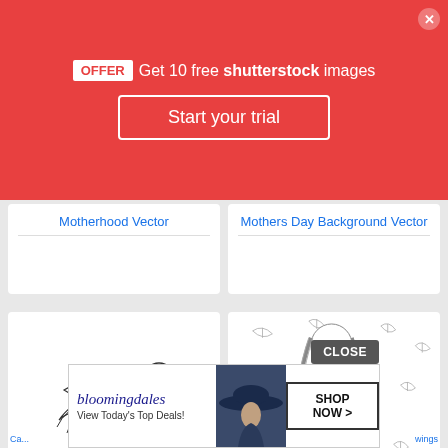[Figure (screenshot): Red Shutterstock promotional banner with OFFER badge, 'Get 10 free shutterstock images', 'Start your trial' button, and close X button]
Motherhood Vector
Mothers Day Background Vector
[Figure (illustration): White card with a simple line drawing of a flying bird (duck/chick style)]
[Figure (illustration): White card with a line drawing of a mother figure with long braided hair holding a small child, surrounded by falling leaves]
[Figure (screenshot): Bloomingdale's advertisement banner: 'bloomingdales', 'View Today's Top Deals!', woman in hat photo, 'SHOP NOW >' button]
CLOSE
Ca...
wings